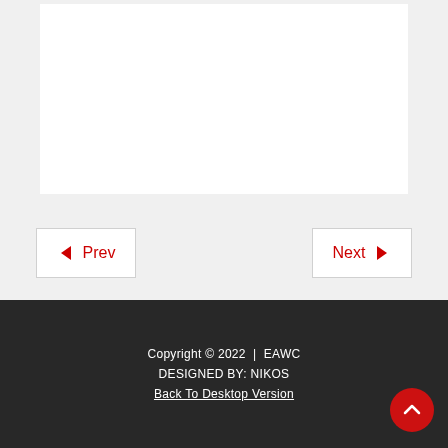[Figure (screenshot): White content panel on light gray background — empty content area]
◄ Prev
Next ►
Copyright © 2022  |  EAWC
DESIGNED BY: NIKOS
Back To Desktop Version